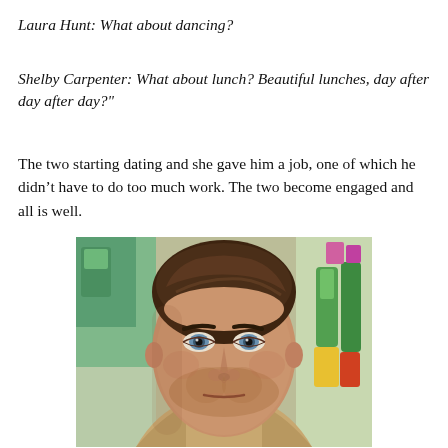Laura Hunt: What about dancing?
Shelby Carpenter: What about lunch? Beautiful lunches, day after day after day?"
The two starting dating and she gave him a job, one of which he didn't have to do too much work. The two become engaged and all is well.
[Figure (photo): Close-up photo of a brown-haired man with blue eyes wearing a tan jacket, looking slightly off-camera with a serious expression. Blurred colorful store background behind him.]